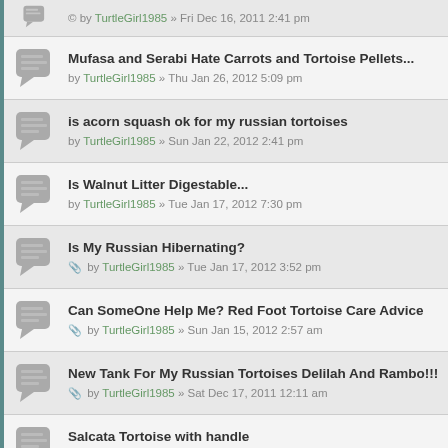by TurtleGirl1985 » Fri Dec 16, 2011 2:41 pm
Mufasa and Serabi Hate Carrots and Tortoise Pellets... by TurtleGirl1985 » Thu Jan 26, 2012 5:09 pm
is acorn squash ok for my russian tortoises by TurtleGirl1985 » Sun Jan 22, 2012 2:41 pm
Is Walnut Litter Digestable... by TurtleGirl1985 » Tue Jan 17, 2012 7:30 pm
Is My Russian Hibernating? by TurtleGirl1985 » Tue Jan 17, 2012 3:52 pm
Can SomeOne Help Me? Red Foot Tortoise Care Advice by TurtleGirl1985 » Sun Jan 15, 2012 2:57 am
New Tank For My Russian Tortoises Delilah And Rambo!!! by TurtleGirl1985 » Sat Dec 17, 2011 12:11 am
Salcata Tortoise with handle by Sir Max » Mon Dec 12, 2011 8:42 pm
My Humitity Level Is 70 ... Good Or Bad by TurtleGirl1985 » Mon Dec 05, 2011 12:43 am
Is Homer a Male Or Female? by TurtleGirl1985 » Tue Nov 29, 2011 5:17 pm
My Tortoise Keeps knocking over his food bowl help by TurtleGirl1985